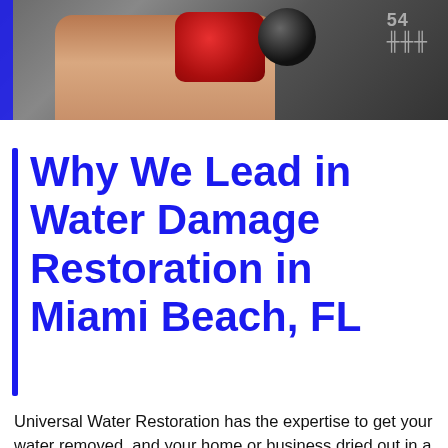[Figure (photo): Photo of a person's hand holding a red and black tool or equipment, with a dark background and a blue stripe on the left side.]
Why We Lead in Water Damage Restoration in Miami Beach, FL
Universal Water Restoration has the expertise to get your water removed, and your home or business dried out in a timely fashion. Our team handles your emergency water damage cleanup and repairs promptly and professionally, so you